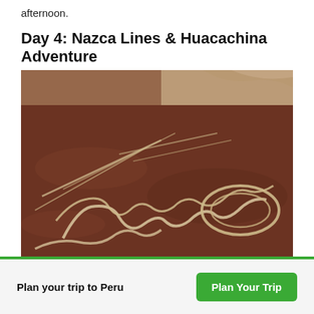afternoon.
Day 4: Nazca Lines & Huacachina Adventure
[Figure (photo): Aerial view of the Nazca Lines geoglyphs in Peru, showing sinuous pale lines etched into a dark reddish-brown desert plain, with an oval spiral shape visible on the right side and winding curved lines throughout.]
Plan your trip to Peru
Plan Your Trip